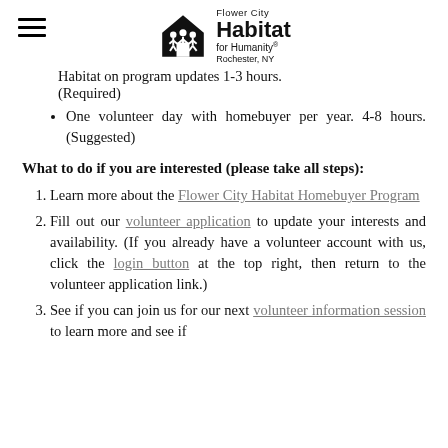Flower City Habitat for Humanity, Rochester, NY
Habitat on program updates 1-3 hours. (Required)
One volunteer day with homebuyer per year. 4-8 hours. (Suggested)
What to do if you are interested (please take all steps):
1. Learn more about the Flower City Habitat Homebuyer Program
2. Fill out our volunteer application to update your interests and availability. (If you already have a volunteer account with us, click the login button at the top right, then return to the volunteer application link.)
3. See if you can join us for our next volunteer information session to learn more and see if